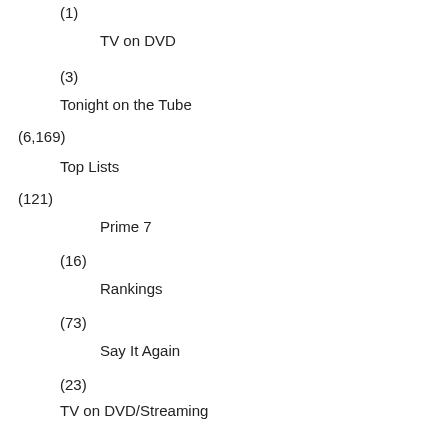(1)
TV on DVD
(3)
Tonight on the Tube
(6,169)
Top Lists
(121)
Prime 7
(16)
Rankings
(73)
Say It Again
(23)
TV on DVD/Streaming
(166)
New on Amazon
(2)